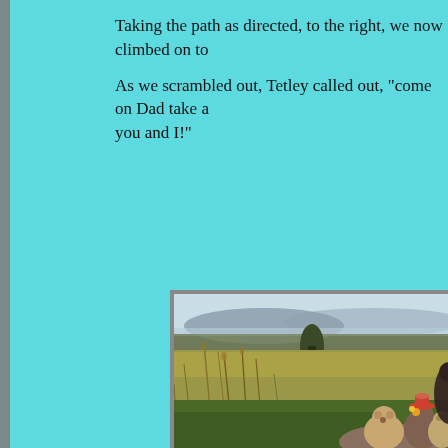Taking the path as directed, to the right, we now climbed on to...
As we scrambled out, Tetley called out, "come on Dad take a photo of you and I!"
[Figure (photo): Outdoor moorland landscape photo showing wide grassy hillside with tall grasses and wildflowers in foreground, hills and water in background, and teddy bears sitting on a rock in the lower right corner.]